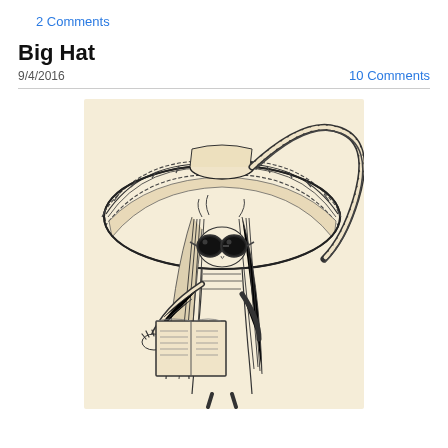2 Comments
Big Hat
9/4/2016
10 Comments
[Figure (illustration): Pen/ink sketch of a stylized figure wearing an enormous wide-brimmed floppy hat with a braided/ribbed edge, large round sunglasses, long straight hair, and holding an open book. The figure is drawn in a whimsical, fashion-illustration style on cream/sepia paper.]